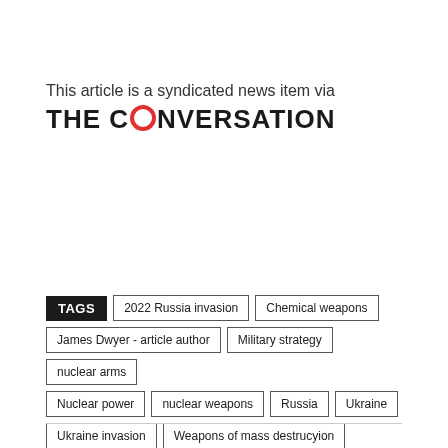This article is a syndicated news item via
[Figure (logo): The Conversation logo — bold black text with a red circle replacing the O in CONVERSATION]
TAGS: 2022 Russia invasion, Chemical weapons, James Dwyer - article author, Military strategy, nuclear arms, Nuclear power, nuclear weapons, Russia, Ukraine, Ukraine invasion, Weapons of mass destrucyion, WMD in Ulraine